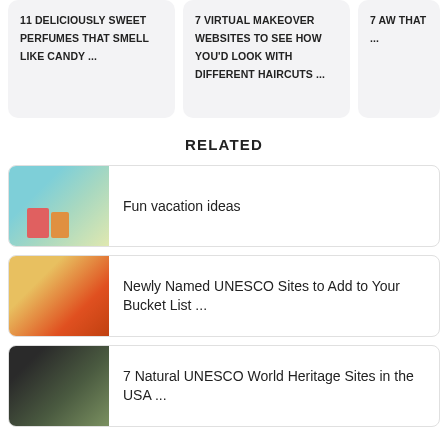11 DELICIOUSLY SWEET PERFUMES THAT SMELL LIKE CANDY ...
7 VIRTUAL MAKEOVER WEBSITES TO SEE HOW YOU'D LOOK WITH DIFFERENT HAIRCUTS ...
7 AW THAT ...
RELATED
Fun vacation ideas
Newly Named UNESCO Sites to Add to Your Bucket List ...
7 Natural UNESCO World Heritage Sites in the USA ...